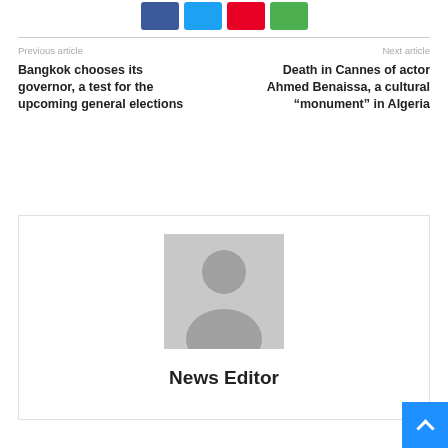[Figure (other): Social share buttons: Facebook (blue), Twitter (light blue), Pinterest (red), WhatsApp (green)]
Previous article
Bangkok chooses its governor, a test for the upcoming general elections
Next article
Death in Cannes of actor Ahmed Benaissa, a cultural “monument” in Algeria
[Figure (photo): Generic author avatar placeholder image (grey silhouette of a person on grey background)]
News Editor